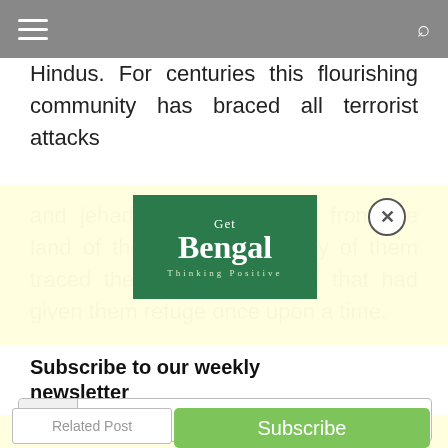Hindus. For centuries this flourishing community has braced all terrorist attacks and jehadi forces operating from the land of their birth. And many of them traced their roots to Bengal that had given them refuge once upon a time.
[Figure (logo): Get Bengal - Thinking Positive logo, green background with white text]
Subscribe to our weekly newsletter
Leave a Comments
@ Your email...
Related Post
Subscribe